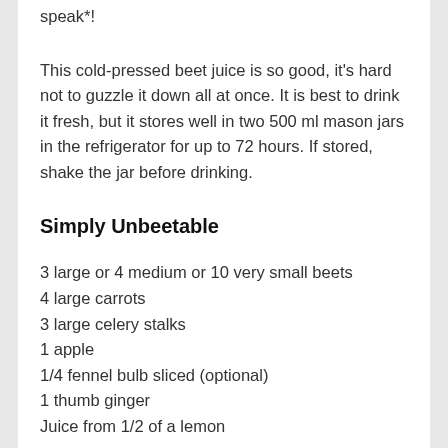speak*!
This cold-pressed beet juice is so good, it's hard not to guzzle it down all at once. It is best to drink it fresh, but it stores well in two 500 ml mason jars in the refrigerator for up to 72 hours. If stored, shake the jar before drinking.
Simply Unbeetable
3 large or 4 medium or 10 very small beets
4 large carrots
3 large celery stalks
1 apple
1/4 fennel bulb sliced (optional)
1 thumb ginger
Juice from 1/2 of a lemon